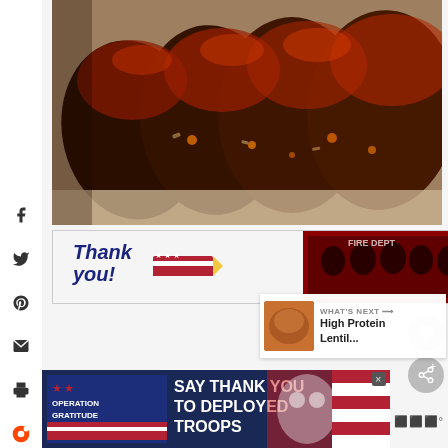[Figure (photo): Close-up photo of sliced meatloaf with a dark glazed topping on parchment paper, showing the texture with visible vegetable pieces]
[Figure (photo): Advertisement banner: Operation Gratitude - Thank You with an American flag pencil graphic and group photo of people in uniform]
[Figure (photo): What's Next panel showing High Protein Lentil... with a thumbnail of a food dish]
[Figure (photo): Operation Gratitude advertisement banner: SAY THANK YOU TO DEPLOYED TROOPS with patriotic imagery]